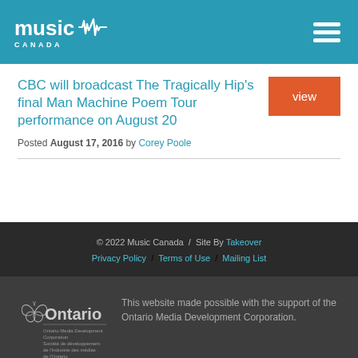music CANADA
CBC will broadcast The Tragically Hip's final Man Machine Poem Tour performance on August 20
Posted August 17, 2016 by Corey Poole
© 2022 Music Canada / Site By Takeover
Privacy Policy / Terms of Use / Mailing List
[Figure (logo): Ontario Media Development Corporation logo with butterfly icon]
This website made possible with the support of the Ontario Media Development Corporation.